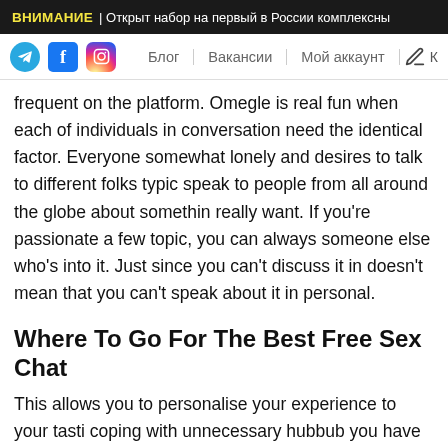ВНИМАНИЕ | Открыт набор на первый в России комплексны
Блог  Вакансии  Мой аккаунт
frequent on the platform. Omegle is real fun when each of individuals in conversation need the identical factor. Everyone somewhat lonely and desires to talk to different folks typically speak to people from all around the globe about something really want. If you're passionate a few topic, you can always someone else who's into it. Just since you can't discuss it in doesn't mean that you can't speak about it in personal.
Where To Go For The Best Free Sex Chat
This allows you to personalise your experience to your tasting coping with unnecessary hubbub you have not any intenti With Instachatrooms, you could have the flexibility to conn complete stranger within seconds. With members all roun